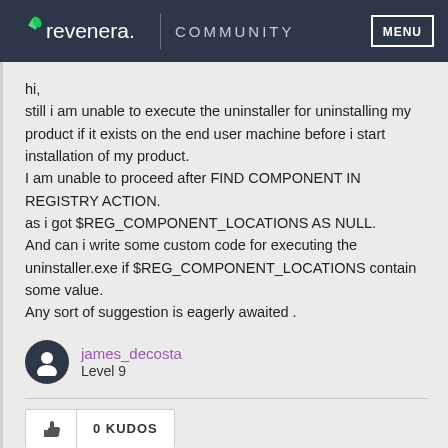revenera. COMMUNITY MENU
hi,
still i am unable to execute the uninstaller for uninstalling my product if it exists on the end user machine before i start installation of my product.
I am unable to proceed after FIND COMPONENT IN REGISTRY ACTION.
as i got $REG_COMPONENT_LOCATIONS AS NULL.
And can i write some custom code for executing the uninstaller.exe if $REG_COMPONENT_LOCATIONS contain some value.
Any sort of suggestion is eagerly awaited .
james_decosta
Level 9
0 KUDOS